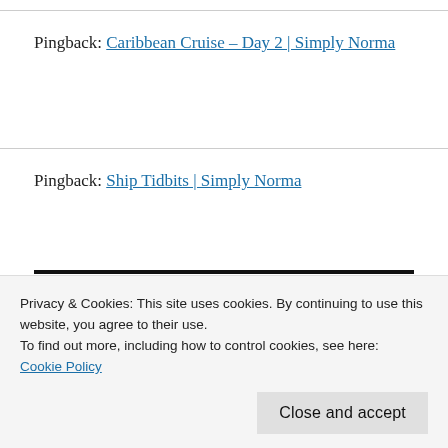Pingback: Caribbean Cruise – Day 2 | Simply Norma
Pingback: Ship Tidbits | Simply Norma
Leave a Reply
Privacy & Cookies: This site uses cookies. By continuing to use this website, you agree to their use.
To find out more, including how to control cookies, see here:
Cookie Policy
Close and accept